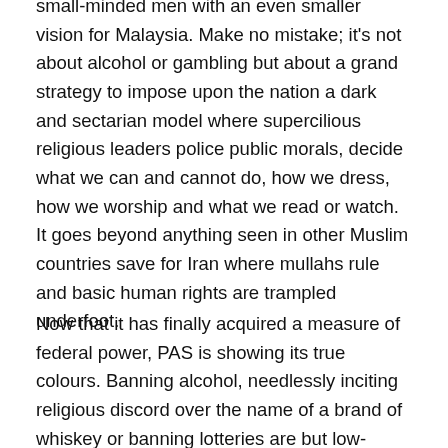small-minded men with an even smaller vision for Malaysia. Make no mistake; it's not about alcohol or gambling but about a grand strategy to impose upon the nation a dark and sectarian model where supercilious religious leaders police public morals, decide what we can and cannot do, how we dress, how we worship and what we read or watch. It goes beyond anything seen in other Muslim countries save for Iran where mullahs rule and basic human rights are trampled underfoot.
Now that it has finally acquired a measure of federal power, PAS is showing its true colours. Banning alcohol, needlessly inciting religious discord over the name of a brand of whiskey or banning lotteries are but low-hanging fruits. More drastic measures will surely follow. The trouble with playing the religious and racial card is you can't stop; you have to keep upping the ante to grab attention, to stay